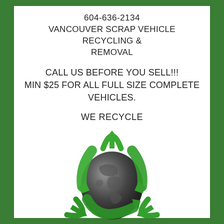604-636-2134
VANCOUVER SCRAP VEHICLE RECYCLING & REMOVAL
CALL US BEFORE YOU SELL!!!
MIN $25 FOR ALL FULL SIZE COMPLETE VEHICLES.
WE RECYCLE
[Figure (illustration): Green recycling arrows symbol surrounding a globe/Earth illustration, representing vehicle recycling and environmental responsibility.]